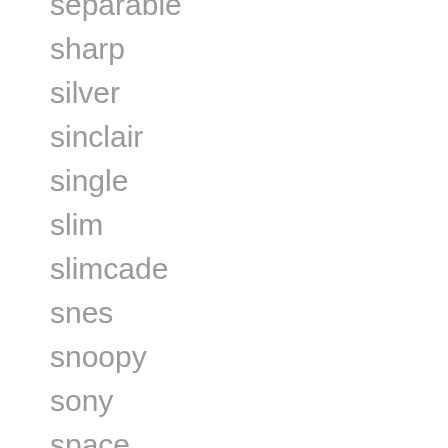separable
sharp
silver
sinclair
single
slim
slimcade
snes
snoopy
sony
space
special
star
stick
stock
stream